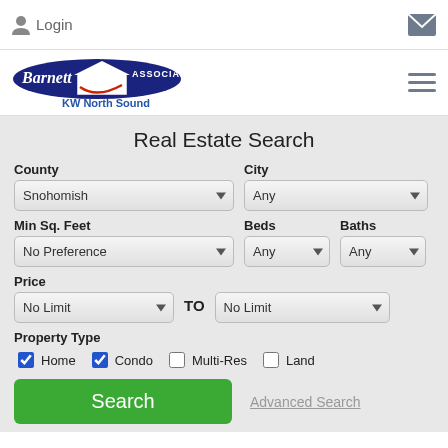Login
[Figure (logo): Barnett Associates KW North Sound real estate logo with dark blue ellipse and house icon]
Real Estate Search
County: Snohomish | City: Any
Min Sq. Feet: No Preference | Beds: Any | Baths: Any
Price: No Limit TO No Limit
Property Type: Home (checked), Condo (checked), Multi-Res (unchecked), Land (unchecked)
Search | Advanced Search